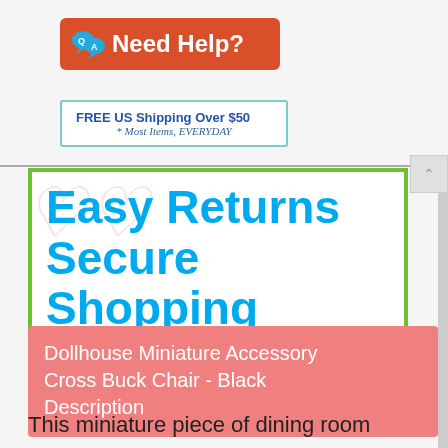[Figure (logo): Red rounded rectangle banner with speech bubble icon showing Q and A letters, and text 'Need Help?' in white]
[Figure (infographic): White box with teal border showing 'FREE US Shipping Over $50' in bold blue and '* Most Items, EVERYDAY' in italic below]
[Figure (infographic): White box with green border showing 'Easy Returns Secure Shopping' in large bold blue text with faint heart watermark]
Dollhouse Miniature Accessory Cross Buck Chair - Black Description
This miniature piece of dining room